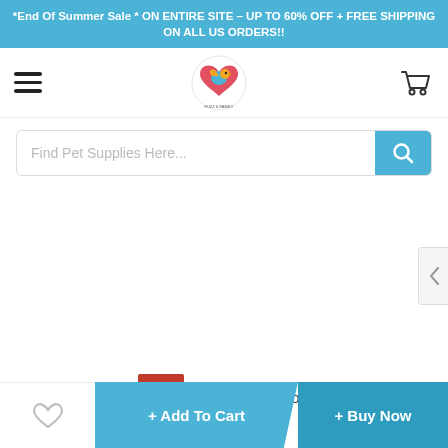*End Of Summer Sale * ON ENTIRE SITE – UP TO 60% OFF + FREE SHIPPING ON ALL US ORDERS!!
[Figure (logo): Fuzz & Family pet store logo — colorful bird/heart icon with circular text]
Find Pet Supplies Here...
6  Visitor Right Now
+ Add To Cart
+ Buy Now